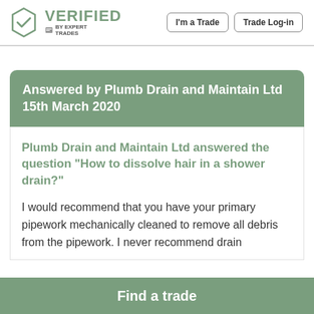VERIFIED by Expert Trades | I'm a Trade | Trade Log-in
Answered by Plumb Drain and Maintain Ltd 15th March 2020
Plumb Drain and Maintain Ltd answered the question "How to dissolve hair in a shower drain?"
I would recommend that you have your primary pipework mechanically cleaned to remove all debris from the pipework. I never recommend drain
Find a trade